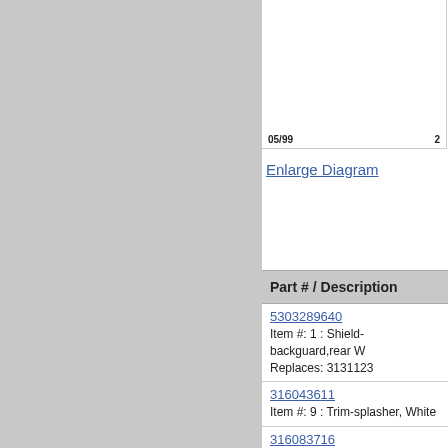[Figure (schematic): Partial appliance parts diagram thumbnail with part numbers 05/99 and 2 visible at bottom]
Enlarge Diagram
| Part # / Description |
| --- |
| 5303289640
Item #: 1 : Shield-backguard,rear W
Replaces: 3131123 |
| 316043611
Item #: 9 : Trim-splasher, White |
| 316083716
Item #: 11 : Trim-wrapper,white |
| 316032411
Item #: 12 : The...
Replaces: 5303... |
| 5303131237
Item #: 15 : Support-backguard,(2) |
| 316042610
Item #: 16 : Plate, Instrument Mtg |